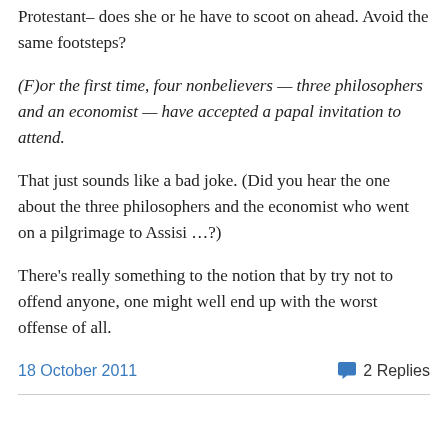Protestant– does she or he have to scoot on ahead. Avoid the same footsteps?
(F)or the first time, four nonbelievers — three philosophers and an economist — have accepted a papal invitation to attend.
That just sounds like a bad joke. (Did you hear the one about the three philosophers and the economist who went on a pilgrimage to Assisi …?)
There's really something to the notion that by try not to offend anyone, one might well end up with the worst offense of all.
18 October 2011    2 Replies